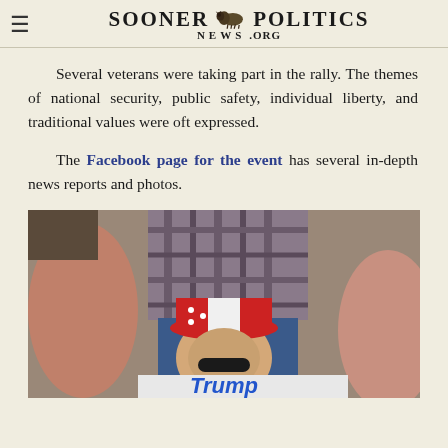SOONER POLITICS NEWS .ORG
Several veterans were taking part in the rally. The themes of national security, public safety, individual liberty, and traditional values were oft expressed.
The Facebook page for the event has several in-depth news reports and photos.
[Figure (photo): Photo of a rally attendee wearing a patriotic hat with red, white and blue stripes, holding a Trump campaign sign. The word 'Trump' is visible at the bottom of the sign.]